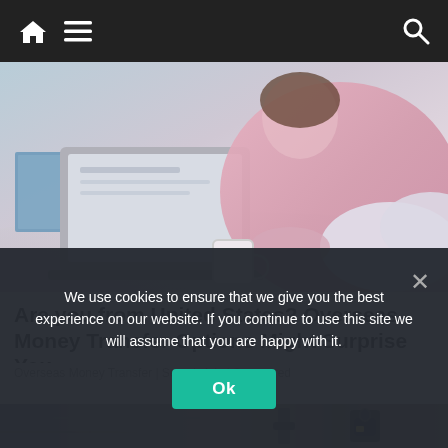Navigation bar with home, menu, and search icons
[Figure (photo): Woman in pink knit sweater lying on floor with laptop and white mug]
Are you from United States? Overseas Money Transfer Options Might Surprise You
Overseas Money Transfer | Search Ads | Sponsored
[Figure (photo): Outdoor stone wall with metal door hardware and lock]
We use cookies to ensure that we give you the best experience on our website. If you continue to use this site we will assume that you are happy with it.